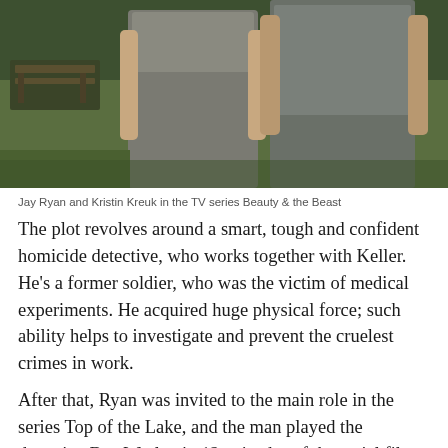[Figure (photo): Jay Ryan and Kristin Kreuk standing outdoors in a park, both wearing grey athletic clothing. A park bench and green grass are visible in the background.]
Jay Ryan and Kristin Kreuk in the TV series Beauty & the Beast
The plot revolves around a smart, tough and confident homicide detective, who works together with Keller. He's a former soldier, who was the victim of medical experiments. He acquired huge physical force; such ability helps to investigate and prevent the cruelest crimes in work.
After that, Ryan was invited to the main role in the series Top of the Lake, and the man played the detective Ben Wesley in 12 episodes of the serial film Mary Kills People from 2017 to 2018.
Personal life
The personal life of the actor is successful. Although Jay tried to